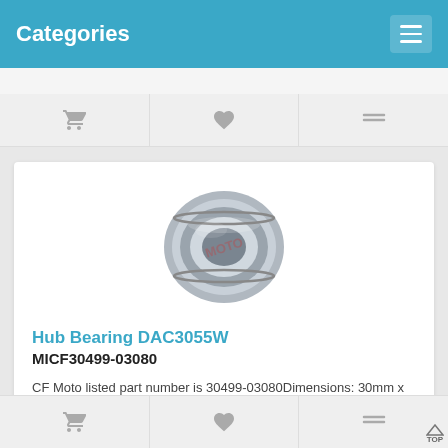Categories
[Figure (photo): Hub Bearing DAC3055W — a wheel hub bearing (cylindrical, sealed), silver/grey metallic finish with a red watermark overlay in the center]
Hub Bearing DAC3055W
MICF30499-03080
CF Moto listed part number is 30499-03080Dimensions: 30mm x 55mm x 32mmID (inner diameter)/Bore: 30mmOD (outer diameter): 55mmWidth/Height/thickness: ..
$7.80